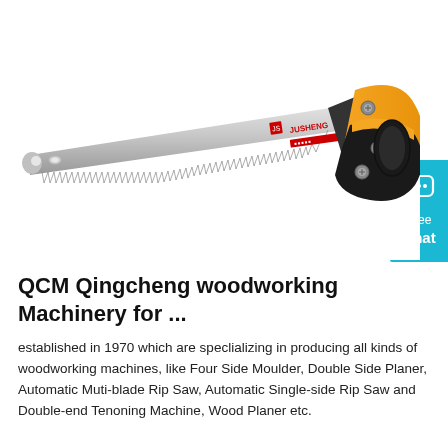[Figure (photo): A hand saw (Jusheng brand) with a silver serrated blade on the left tapering to a point, and a two-tone orange and black ergonomic handle on the right. The blade has the Jusheng logo and icons printed on it.]
QCM Qingcheng woodworking Machinery for ...
established in 1970 which are speclializing in producing all kinds of woodworking machines, like Four Side Moulder, Double Side Planer, Automatic Muti-blade Rip Saw, Automatic Single-side Rip Saw and Double-end Tenoning Machine, Wood Planer etc.